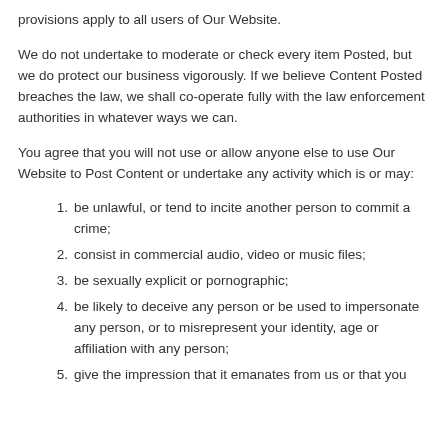provisions apply to all users of Our Website.
We do not undertake to moderate or check every item Posted, but we do protect our business vigorously. If we believe Content Posted breaches the law, we shall co-operate fully with the law enforcement authorities in whatever ways we can.
You agree that you will not use or allow anyone else to use Our Website to Post Content or undertake any activity which is or may:
be unlawful, or tend to incite another person to commit a crime;
consist in commercial audio, video or music files;
be sexually explicit or pornographic;
be likely to deceive any person or be used to impersonate any person, or to misrepresent your identity, age or affiliation with any person;
give the impression that it emanates from us or that you